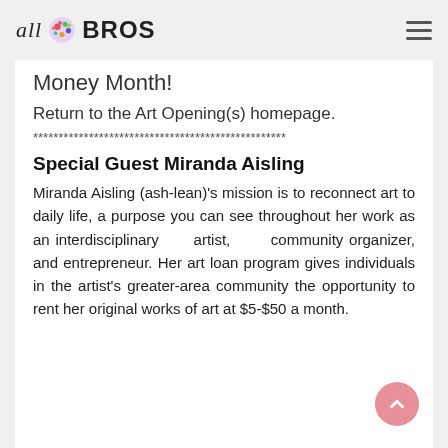all BROS
Money Month!
Return to the Art Opening(s) homepage.
**************************************************
Special Guest Miranda Aisling
Miranda Aisling (ash-lean)'s mission is to reconnect art to daily life, a purpose you can see throughout her work as an interdisciplinary artist, community organizer, and entrepreneur. Her art loan program gives individuals in the artist's greater-area community the opportunity to rent her original works of art at $5-$50 a month.